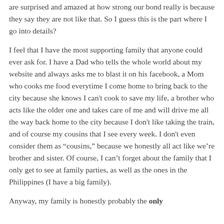are surprised and amazed at how strong our bond really is because they say they are not like that. So I guess this is the part where I go into details?
I feel that I have the most supporting family that anyone could ever ask for. I have a Dad who tells the whole world about my website and always asks me to blast it on his facebook, a Mom who cooks me food everytime I come home to bring back to the city because she knows I can't cook to save my life, a brother who acts like the older one and takes care of me and will drive me all the way back home to the city because I don't like taking the train, and of course my cousins that I see every week. I don't even consider them as “cousins,” because we honestly all act like we’re brother and sister. Of course, I can’t forget about the family that I only get to see at family parties, as well as the ones in the Philippines (I have a big family).
Anyway, my family is honestly probably the only